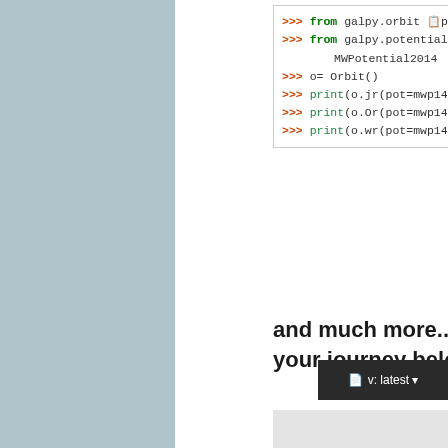[Figure (screenshot): Python interactive shell code block showing galpy orbit and potential imports and usage: from galpy.orbit import ..., from galpy.potential ... MWPotential2014, o= Orbit(), print(o.jr(pot=mwp14, print(o.Or(pot=mwp14, print(o.wr(pot=mwp14]
and much more... Start your journey below
[Figure (other): Gray placeholder image/panel below the text]